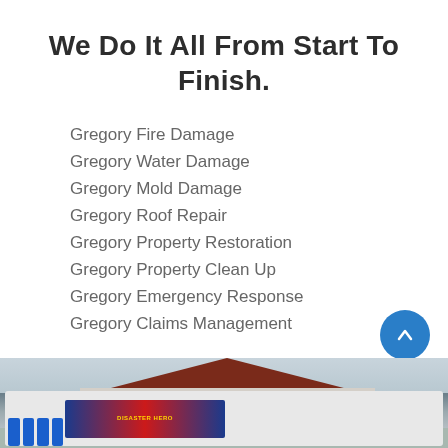We Do It All From Start To Finish.
Gregory Fire Damage
Gregory Water Damage
Gregory Mold Damage
Gregory Roof Repair
Gregory Property Restoration
Gregory Property Clean Up
Gregory Emergency Response
Gregory Claims Management
[Figure (photo): Disaster Hero branded trucks and trailer parked in front of a large building with a dark red roof, with blue barrels on the left side.]